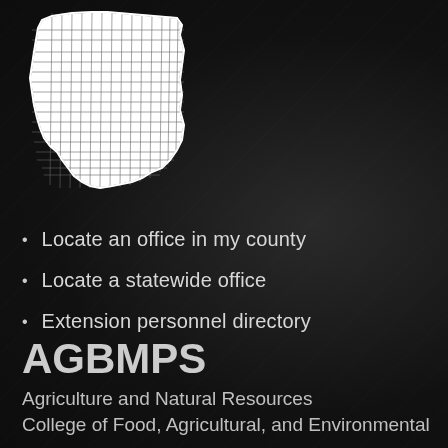[Figure (map): White outline map of Ohio state showing county boundaries on dark background]
Locate an office in my county
Locate a statewide office
Extension personnel directory
AGBMPS
Agriculture and Natural Resources
College of Food, Agricultural, and Environmental